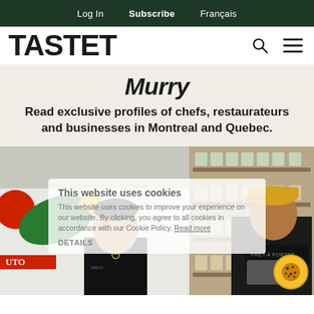Log In   Subscribe   Français
TASTET
Murry
Read exclusive profiles of chefs, restaurateurs and businesses in Montreal and Quebec.
[Figure (photo): Two men standing in a shop interior with shelves of containers in the background and a decorative bird hand sculpture on the wall. A cookie consent overlay is visible over the photo. A cookie icon appears in the bottom right corner.]